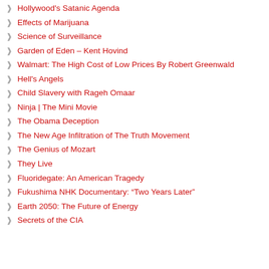Hollywood's Satanic Agenda
Effects of Marijuana
Science of Surveillance
Garden of Eden – Kent Hovind
Walmart: The High Cost of Low Prices By Robert Greenwald
Hell's Angels
Child Slavery with Rageh Omaar
Ninja | The Mini Movie
The Obama Deception
The New Age Infiltration of The Truth Movement
The Genius of Mozart
They Live
Fluoridegate: An American Tragedy
Fukushima NHK Documentary: “Two Years Later”
Earth 2050: The Future of Energy
Secrets of the CIA